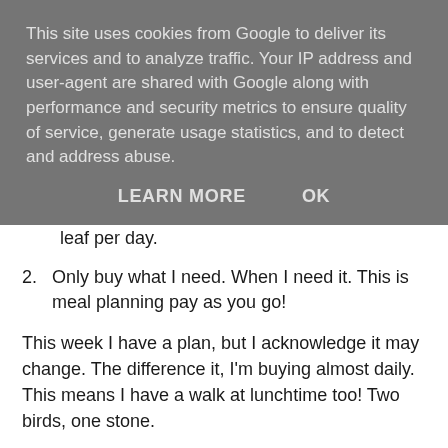This site uses cookies from Google to deliver its services and to analyze traffic. Your IP address and user-agent are shared with Google along with performance and security metrics to ensure quality of service, generate usage statistics, and to detect and address abuse.
LEARN MORE   OK
leaf per day.
2. Only buy what I need. When I need it. This is meal planning pay as you go!
This week I have a plan, but I acknowledge it may change. The difference it, I'm buying almost daily. This means I have a walk at lunchtime too! Two birds, one stone.
Monday: Chicken, skinny fries, broccoli and gravy. A nice comforting meal with few calories. The fries are low in fat too, but give the illusion of something bad! I'm all about the mind games folks...
Tuesday: Some sort of curry, rice and cheese naan bread. This has become a bit of an England match tradition!